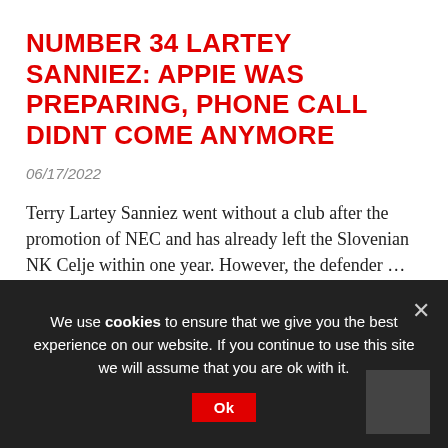NUMBER 34 LARTEY SANNIEZ: APPIE WAS PREPARING, PHONE CALL DIDNT COME ANYMORE
06/17/2022
Terry Lartey Sanniez went without a club after the promotion of NEC and has already left the Slovenian NK Celje within one year. However, the defender …
Football
We use cookies to ensure that we give you the best experience on our website. If you continue to use this site we will assume that you are ok with it.
Ok